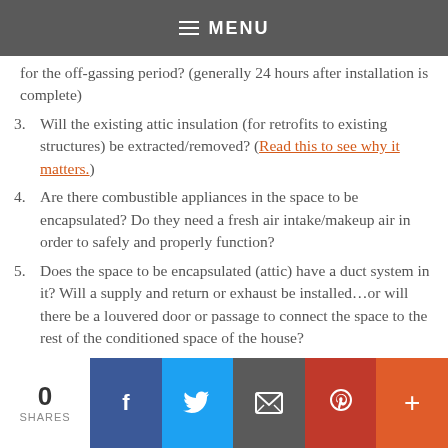MENU
for the off-gassing period? (generally 24 hours after installation is complete)
Will the existing attic insulation (for retrofits to existing structures) be extracted/removed? (Read this to see why it matters.)
Are there combustible appliances in the space to be encapsulated? Do they need a fresh air intake/makeup air in order to safely and properly function?
Does the space to be encapsulated (attic) have a duct system in it? Will a supply and return or exhaust be installed…or will there be a louvered door or passage to connect the space to the rest of the conditioned space of the house?
0 SHARES  [Facebook] [Twitter] [Email] [Pinterest] [Plus]